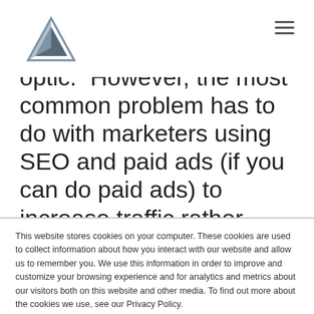[Logo and navigation header]
optic." However, the most common problem has to do with marketers using SEO and paid ads (if you can do paid ads) to increase traffic rather than
This website stores cookies on your computer. These cookies are used to collect information about how you interact with our website and allow us to remember you. We use this information in order to improve and customize your browsing experience and for analytics and metrics about our visitors both on this website and other media. To find out more about the cookies we use, see our Privacy Policy.
If you decline, your information won't be tracked when you visit this website. A single cookie will be used in your browser to remember your preference not to be tracked.